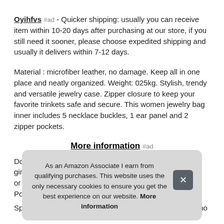Oyihfvs #ad - Quicker shipping: usually you can receive item within 10-20 days after purchasing at our store, if you still need it sooner, please choose expedited shipping and usually it delivers within 7-12 days.
Material : microfiber leather, no damage. Keep all in one place and neatly organized. Weight: 025kg. Stylish, trendy and versatile jewelry case. Zipper closure to keep your favorite trinkets safe and secure. This women jewelry bag inner includes 5 necklace buckles, 1 ear panel and 2 zipper pockets.
More information #ad
Do n... girlf... or P... Por...
Spacious enough for carrying your necklaces, earrings, no
As an Amazon Associate I earn from qualifying purchases. This website uses the only necessary cookies to ensure you get the best experience on our website. More information